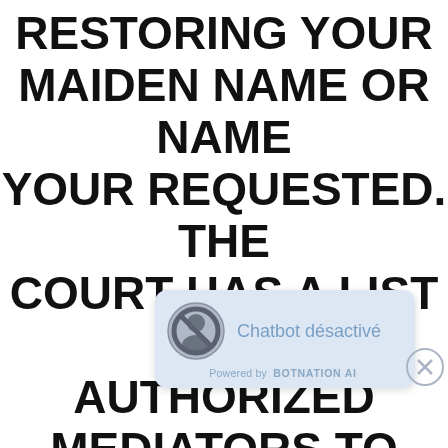RESTORING YOUR MAIDEN NAME OR NAME YOUR REQUESTED. THE COURT HAS A LIST OF AUTHORIZED MEDIATORS TO HELP YOU SETTLE YOUR ISSUES. YOU ALSO CAN CHOOSE A PRIV... MANY OF THE OFFERS COMING INTO COURT ON
[Figure (other): Chatbot désactivé overlay with a disabled chatbot icon and 'Powered by BOTNATION AI' text, with a close button]